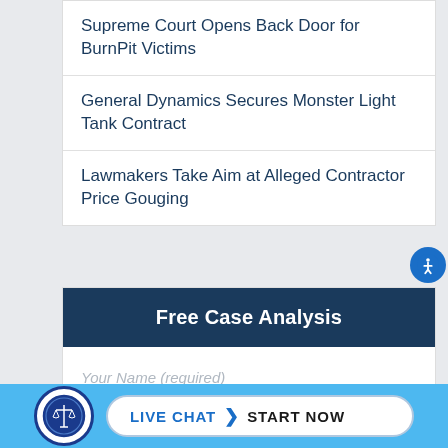Supreme Court Opens Back Door for BurnPit Victims
General Dynamics Secures Monster Light Tank Contract
Lawmakers Take Aim at Alleged Contractor Price Gouging
Free Case Analysis
Your Name (required)
[Figure (logo): Circular legal seal/logo with scales of justice]
LIVE CHAT  START NOW